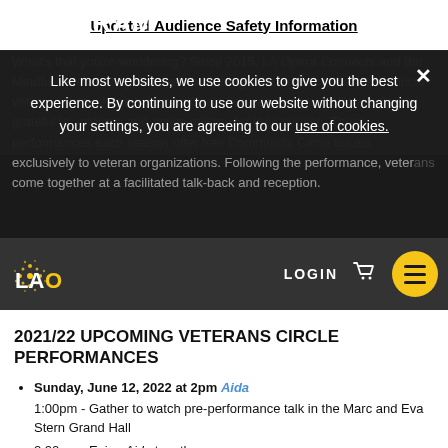Updated Audience Safety Information
PROGRAM
Like most websites, we use cookies to give you the best experience. By continuing to use our website without changing your settings, you are agreeing to our use of cookies.
What's that you're wondering? Since 2015, LA Opera Connects and the Mindful Veteran Project have worked together to enrich the lives of local veterans through the Veterans Circle ticketing program. We are deeply grateful to veterans and active military for their service. Three performances each season offer free Community Circle tickets exclusively to veteran organizations. Following the performance, veterans come together at a facilitated talk-back and reception.
2021/22 UPCOMING VETERANS CIRCLE PERFORMANCES
Sunday, June 12, 2022 at 2pm Aida
1:00pm - Gather to watch pre-performance talk in the Marc and Eva Stern Grand Hall
2:00pm - Enjoy Aida together
5:10-6:10pm - Post-performance talk with refreshments